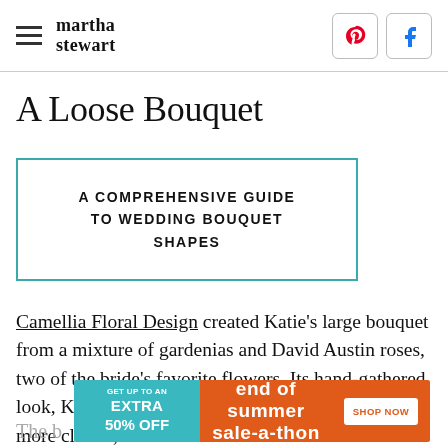martha stewart
A Loose Bouquet
A COMPREHENSIVE GUIDE TO WEDDING BOUQUET SHAPES
Camellia Floral Design created Katie's large bouquet from a mixture of gardenias and David Austin roses, two of the bride's favorite flowers. Its hand-gathered look, Katie says, "was a "fun statement against a more classic, fitted dress."
[Figure (infographic): Advertisement banner: GET UP TO AN EXTRA 50% OFF | END OF SUMMER SALE-A-THON | SHOP NOW]
The b…